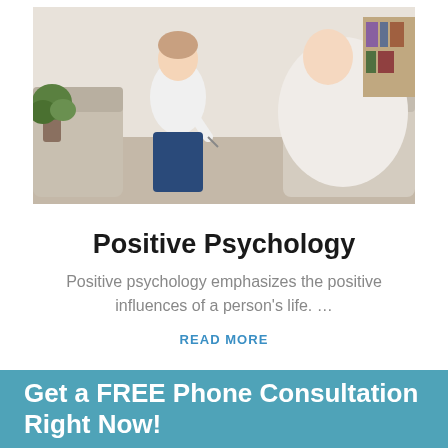[Figure (photo): Two people in a therapy session — a therapist in white holding a pen, sitting across from a patient on a couch in a bright indoor setting.]
Positive Psychology
Positive psychology emphasizes the positive influences of a person's life. …
READ MORE
Get a FREE Phone Consultation Right Now!